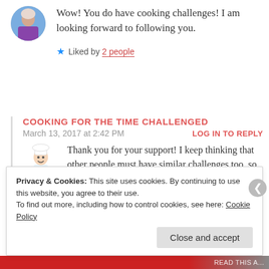Wow! You do have cooking challenges! I am looking forward to following you.
★ Liked by 2 people
COOKING FOR THE TIME CHALLENGED
March 13, 2017 at 2:42 PM
LOG IN TO REPLY
[Figure (illustration): Cartoon chef illustration with bowl]
Thank you for your support! I keep thinking that other people must have similar challenges too, so perhaps my tricks will be useful for someone else? 🐣
Privacy & Cookies: This site uses cookies. By continuing to use this website, you agree to their use.
To find out more, including how to control cookies, see here: Cookie Policy
Close and accept